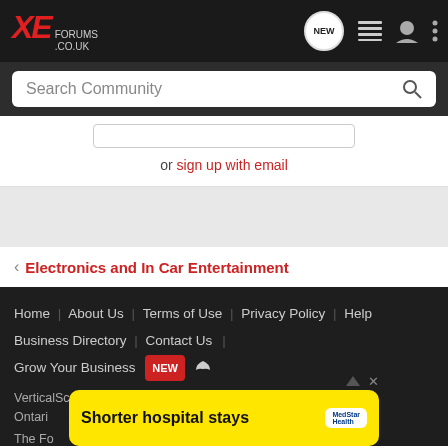XE Forums .co.uk — navigation header with search
or sign up with email
Electronics and In Car Entertainment
Home | About Us | Terms of Use | Privacy Policy | Help | Business Directory | Contact Us | Grow Your Business NEW RSS
VerticalScope Inc., 111 Peter Street, Suite 600, Toronto, Ontario, M5V 3Y1, Canada
The Fo...
[Figure (screenshot): Advertisement banner: Shorter hospital stays — MedStar Health]